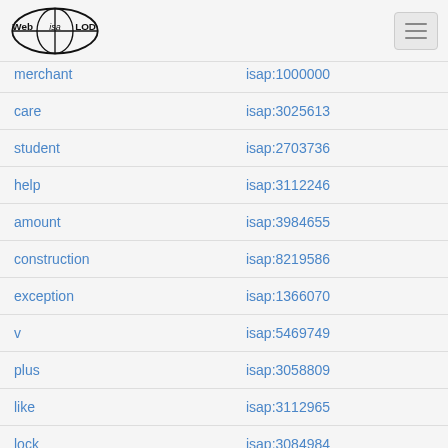Web isa LOD
| term | isap id |
| --- | --- |
| merchant | isap:1000000 |
| care | isap:3025613 |
| student | isap:2703736 |
| help | isap:3112246 |
| amount | isap:3984655 |
| construction | isap:8219586 |
| exception | isap:1366070 |
| v | isap:5469749 |
| plus | isap:3058809 |
| like | isap:3112965 |
| lock | isap:3084984 |